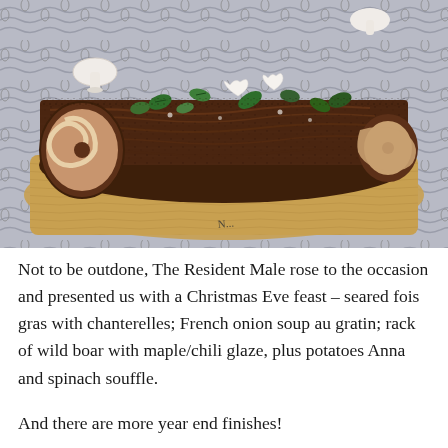[Figure (photo): A chocolate yule log (bûche de Noël) cake decorated with white meringue mushrooms, green fondant leaves, and dusted with cocoa powder, displayed on a golden-brown serving board on a patterned cloth.]
Not to be outdone, The Resident Male rose to the occasion and presented us with a Christmas Eve feast – seared fois gras with chanterelles; French onion soup au gratin; rack of wild boar with maple/chili glaze, plus potatoes Anna and spinach souffle.
And there are more year end finishes!